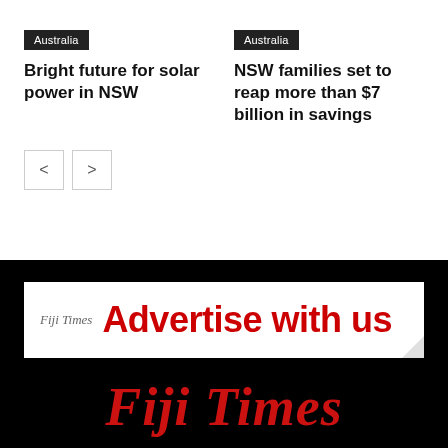Australia
Bright future for solar power in NSW
Australia
NSW families set to reap more than $7 billion in savings
[Figure (other): Fiji Times Advertise with us banner advertisement on black background]
Fiji Times